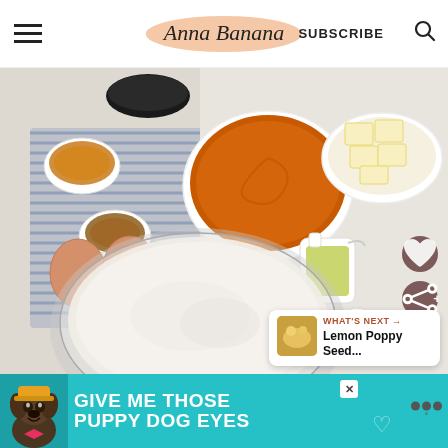Anna Banana | SUBSCRIBE
[Figure (photo): Overhead flat-lay of baking ingredients: bowls of spices, pumpkin puree, butter cubes, eggs, olive oil, and a large glass bowl of flour on a striped blue cloth and marble surface.]
WHAT'S NEXT → Lemon Poppy Seed...
[Figure (photo): Advertisement banner with teal background showing a dog and text: GIVE ME THOSE PUPPY DOG EYES]